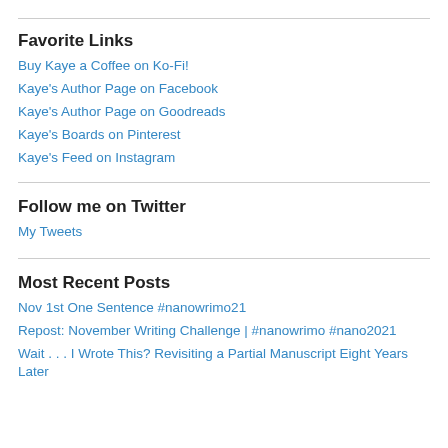Favorite Links
Buy Kaye a Coffee on Ko-Fi!
Kaye's Author Page on Facebook
Kaye's Author Page on Goodreads
Kaye's Boards on Pinterest
Kaye's Feed on Instagram
Follow me on Twitter
My Tweets
Most Recent Posts
Nov 1st One Sentence #nanowrimo21
Repost: November Writing Challenge | #nanowrimo #nano2021
Wait . . . I Wrote This? Revisiting a Partial Manuscript Eight Years Later